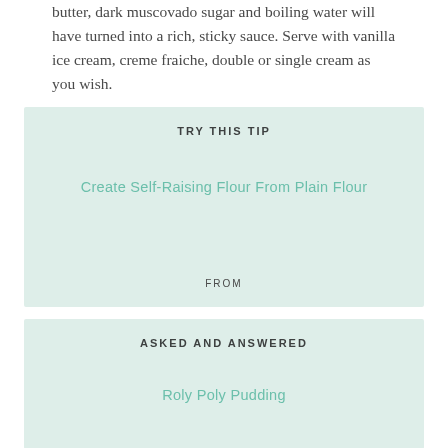butter, dark muscovado sugar and boiling water will have turned into a rich, sticky sauce. Serve with vanilla ice cream, creme fraiche, double or single cream as you wish.
TRY THIS TIP
Create Self-Raising Flour From Plain Flour
FROM
ASKED AND ANSWERED
Roly Poly Pudding